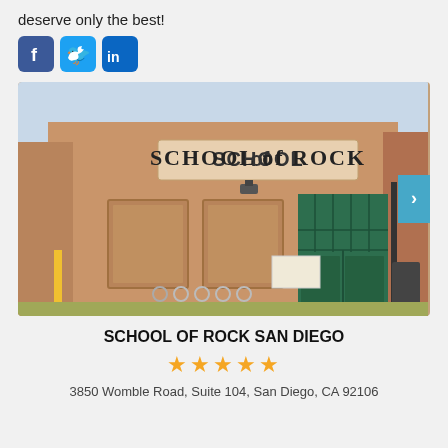deserve only the best!
[Figure (logo): Social media icons: Facebook (blue square with f), Twitter (light blue bird), LinkedIn (blue square with in)]
[Figure (photo): Exterior photo of School of Rock San Diego building. Tan/beige stucco building with a sign reading 'SCHOOL OF ROCK' above the entrance. Features two recessed window panels, a light fixture, and green double doors with glass panes. A yellow pole is visible on the left side. Slideshow navigation dots at the bottom and a right arrow button on the right edge.]
SCHOOL OF ROCK SAN DIEGO
★★★★★
3850 Womble Road, Suite 104, San Diego, CA 92106